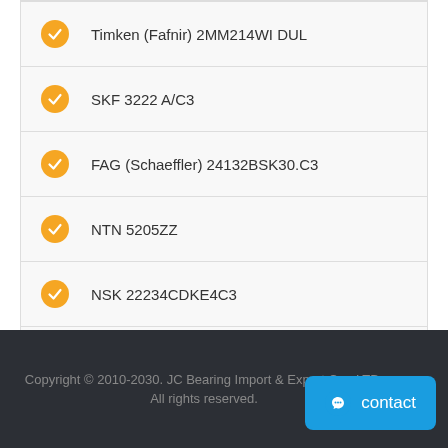Timken (Fafnir) 2MM214WI DUL
SKF 3222 A/C3
FAG (Schaeffler) 24132BSK30.C3
NTN 5205ZZ
NSK 22234CDKE4C3
INA (Schaeffler) 3808-B-2RSR-TVH
FAG (Schaeffler) 22234-E1-K
Copyright © 2010-2030. JC Bearing Import & Export Co., LTD. All rights reserved.